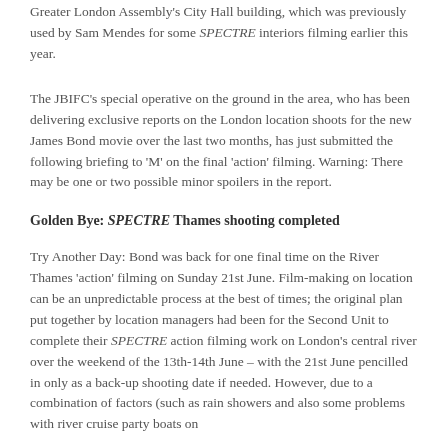Greater London Assembly's City Hall building, which was previously used by Sam Mendes for some SPECTRE interiors filming earlier this year.
The JBIFC's special operative on the ground in the area, who has been delivering exclusive reports on the London location shoots for the new James Bond movie over the last two months, has just submitted the following briefing to 'M' on the final 'action' filming. Warning: There may be one or two possible minor spoilers in the report.
Golden Bye: SPECTRE Thames shooting completed
Try Another Day: Bond was back for one final time on the River Thames 'action' filming on Sunday 21st June. Film-making on location can be an unpredictable process at the best of times; the original plan put together by location managers had been for the Second Unit to complete their SPECTRE action filming work on London's central river over the weekend of the 13th-14th June – with the 21st June pencilled in only as a back-up shooting date if needed. However, due to a combination of factors (such as rain showers and also some problems with river cruise party boats on